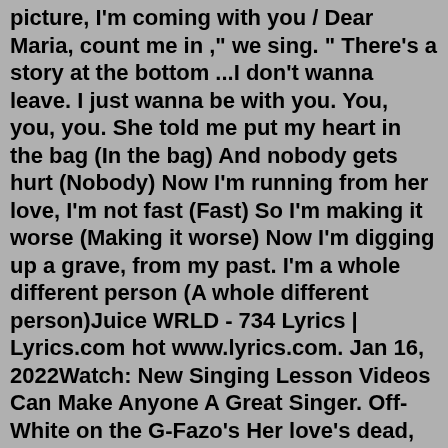picture, I'm coming with you / Dear Maria, count me in ," we sing. " There's a story at the bottom ...I don't wanna leave. I just wanna be with you. You, you, you. She told me put my heart in the bag (In the bag) And nobody gets hurt (Nobody) Now I'm running from her love, I'm not fast (Fast) So I'm making it worse (Making it worse) Now I'm digging up a grave, from my past. I'm a whole different person (A whole different person)Juice WRLD - 734 Lyrics | Lyrics.com hot www.lyrics.com. Jan 16, 2022Watch: New Singing Lesson Videos Can Make Anyone A Great Singer. Off-White on the G-Fazo's Her love's dead, think it needs a halo I'm in my head, damn it, I think too much Now I'm getting tear stains on the bankrolls Bro said if she wanna leave, I should let go Heart saying, "If she leave, we're going with her, let's go" I ...I get so damn high let it sweep me off my feet, bitch Every time I'm high, I be as happy as can be, bitch But on the inside I'm sad, I'ma let it bleed Shouldn't have let her leave, shouldn't have let her leave I remember when my first love hurt me Woke